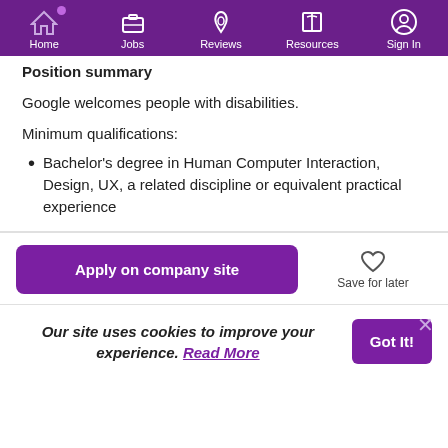Home | Jobs | Reviews | Resources | Sign In
Position summary
Google welcomes people with disabilities.
Minimum qualifications:
Bachelor's degree in Human Computer Interaction, Design, UX, a related discipline or equivalent practical experience
Apply on company site
Save for later
Our site uses cookies to improve your experience. Read More
Got It!